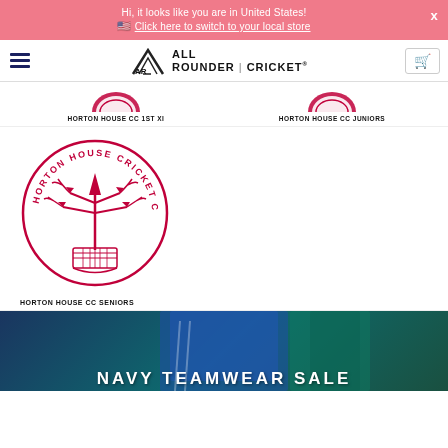Hi, it looks like you are in United States! 🇺🇸 Click here to switch to your local store
[Figure (logo): All Rounder Cricket logo with hamburger menu and cart icon]
HORTON HOUSE CC 1ST XI
HORTON HOUSE CC JUNIORS
[Figure (logo): Horton House Cricket Club circular badge logo in crimson red]
HORTON HOUSE CC SENIORS
[Figure (photo): Person wearing blue Adidas cricket teamwear jacket, partially visible at bottom of page]